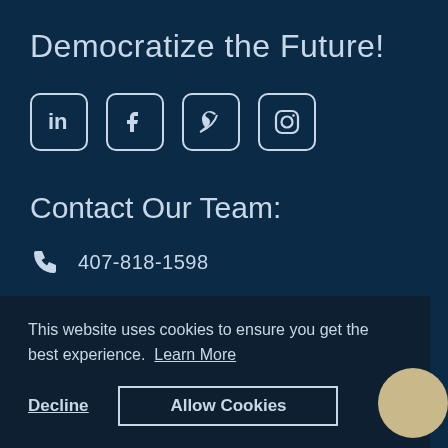Democratize the Future!
[Figure (other): Social media icons: LinkedIn, Facebook, Twitter, Instagram — white icons with rounded square borders on dark background]
Contact Our Team:
407-818-1598
e, FL
This website uses cookies to ensure you get the best experience. Learn More
Decline
Allow Cookies